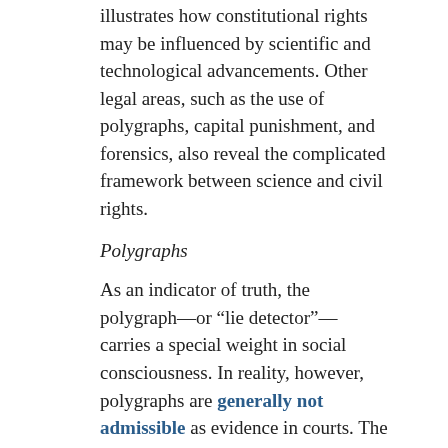illustrates how constitutional rights may be influenced by scientific and technological advancements. Other legal areas, such as the use of polygraphs, capital punishment, and forensics, also reveal the complicated framework between science and civil rights.
Polygraphs
As an indicator of truth, the polygraph—or “lie detector”—carries a special weight in social consciousness. In reality, however, polygraphs are generally not admissible as evidence in courts. The National Academy of Sciences has said that the accuracy of polygraphs can range from 55 to 99 percent, depends on the specific contexts of each test. Despite their suspect status as reliable evidence, law enforcement officials nonetheless use polygraph tests while conducting investigations and when monitoring people on